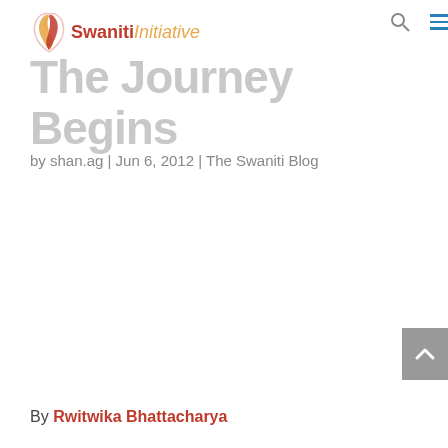Swaniti Initiative
The Journey Begins
by shan.ag | Jun 6, 2012 | The Swaniti Blog
By Rwitwika Bhattacharya